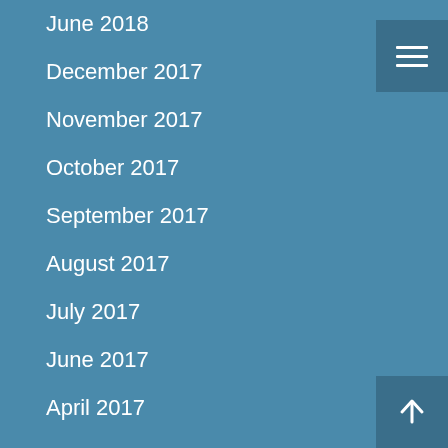June 2018
December 2017
November 2017
October 2017
September 2017
August 2017
July 2017
June 2017
April 2017
May 2016
March 2016
September 2015
August 2015
February 2013